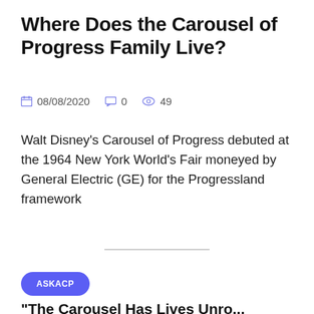Where Does the Carousel of Progress Family Live?
08/08/2020   0   49
Walt Disney's Carousel of Progress debuted at the 1964 New York World's Fair moneyed by General Electric (GE) for the Progressland framework
ASKACP
"The Smallest Has Lives Unro...